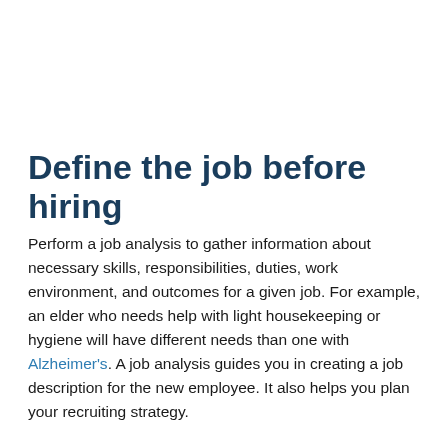Define the job before hiring
Perform a job analysis to gather information about necessary skills, responsibilities, duties, work environment, and outcomes for a given job. For example, an elder who needs help with light housekeeping or hygiene will have different needs than one with Alzheimer's. A job analysis guides you in creating a job description for the new employee. It also helps you plan your recruiting strategy.
Here are some common items that you can include in